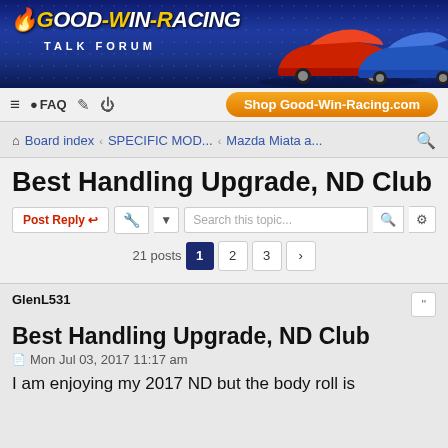[Figure (screenshot): Good-Win-Racing Talk Forum banner with logo, flame graphic, and two Mazda Miata cars (red and blue) on a blue gradient background]
≡  FAQ  ✎  ⏻  Shop Good-Win-Racing.com
Board index  ‹  SPECIFIC MOD...  ‹  Mazda Miata a...  🔍
Best Handling Upgrade, ND Club
Post Reply  🔧  ▼  Search this topic...  🔍  ⚙
21 posts  1  2  3  ›
GlenL531
Best Handling Upgrade, ND Club
Mon Jul 03, 2017 11:17 am
I am enjoying my 2017 ND but the body roll is